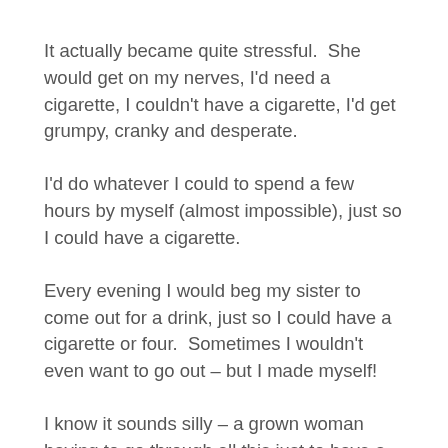It actually became quite stressful.  She would get on my nerves, I'd need a cigarette, I couldn't have a cigarette, I'd get grumpy, cranky and desperate.
I'd do whatever I could to spend a few hours by myself (almost impossible), just so I could have a cigarette.
Every evening I would beg my sister to come out for a drink, just so I could have a cigarette or four.  Sometimes I wouldn't even want to go out – but I made myself!
I know it sounds silly – a grown woman having to go through all this just to have a cigarette – but it's just what happened.  And as I said before – it was stressful!